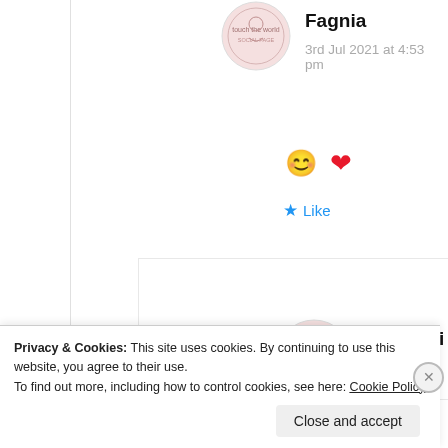Fagnia
3rd Jul 2021 at 4:53 pm
😊 ❤️
★ Like
[Figure (illustration): Avatar/profile circle icon for Samridhi]
Samridhi
Fagnia
Privacy & Cookies: This site uses cookies. By continuing to use this website, you agree to their use. To find out more, including how to control cookies, see here: Cookie Policy
Close and accept